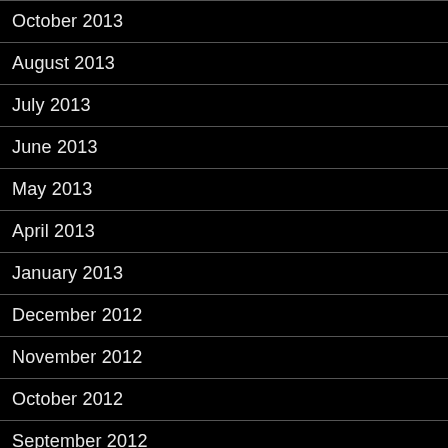October 2013
August 2013
July 2013
June 2013
May 2013
April 2013
January 2013
December 2012
November 2012
October 2012
September 2012
August 2012
July 2012